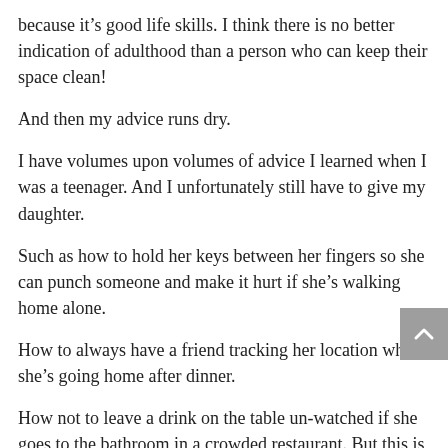because it's good life skills. I think there is no better indication of adulthood than a person who can keep their space clean!
And then my advice runs dry.
I have volumes upon volumes of advice I learned when I was a teenager. And I unfortunately still have to give my daughter.
Such as how to hold her keys between her fingers so she can punch someone and make it hurt if she's walking home alone.
How to always have a friend tracking her location when she's going home after dinner.
How not to leave a drink on the table un-watched if she goes to the bathroom in a crowded restaurant. But this is a whole other article.